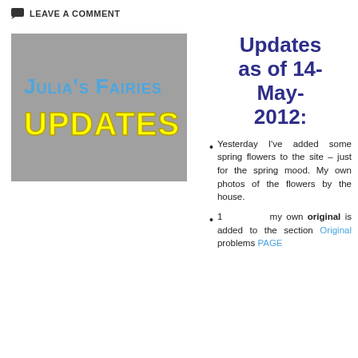LEAVE A COMMENT
[Figure (illustration): Julia's Fairies UPDATES banner image with gray background, blue small-caps text 'Julia's Fairies' and bold yellow text 'UPDATES']
Updates as of 14-May-2012:
Yesterday I've added some spring flowers to the site – just for the spring mood. My own photos of the flowers by the house.
1 my own original is added to the section Original problems PAGE